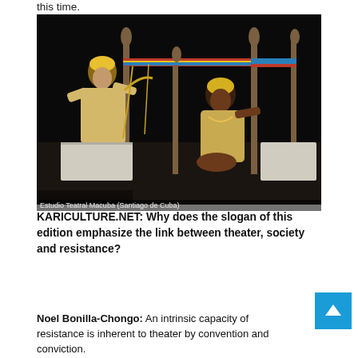this time.
[Figure (photo): Two performers on stage in traditional costumes with yellow headwraps, seated near wooden structures with colorful roped beams, against a dark background. Theatre production photo.]
Estudio Teatral Macuba (Santiago de Cuba)
KARICULTURE.NET: Why does the slogan of this edition emphasize the link between theater, society and resistance?
Noel Bonilla-Chongo: An intrinsic capacity of resistance is inherent to theater by convention and conviction.